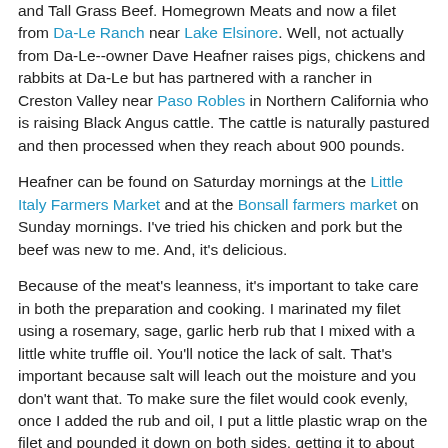and Tall Grass Beef. Homegrown Meats and now a filet from Da-Le Ranch near Lake Elsinore. Well, not actually from Da-Le--owner Dave Heafner raises pigs, chickens and rabbits at Da-Le but has partnered with a rancher in Creston Valley near Paso Robles in Northern California who is raising Black Angus cattle. The cattle is naturally pastured and then processed when they reach about 900 pounds.
Heafner can be found on Saturday mornings at the Little Italy Farmers Market and at the Bonsall farmers market on Sunday mornings. I've tried his chicken and pork but the beef was new to me. And, it's delicious.
Because of the meat's leanness, it's important to take care in both the preparation and cooking. I marinated my filet using a rosemary, sage, garlic herb rub that I mixed with a little white truffle oil. You'll notice the lack of salt. That's important because salt will leach out the moisture and you don't want that. To make sure the filet would cook evenly, once I added the rub and oil, I put a little plastic wrap on the filet and pounded it down on both sides, getting it to about an inch all around. The added advantage was that the rub was pushed